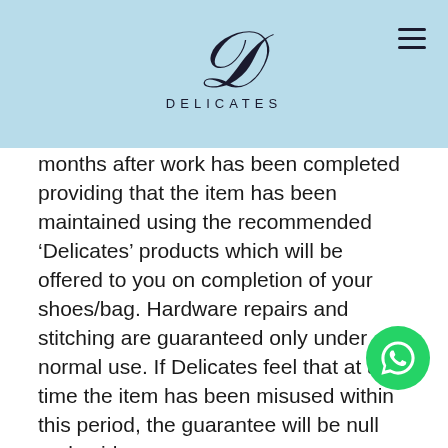[Figure (logo): Delicates brand logo with stylized cursive D and 'DELICATES' text below, on light blue header bar with hamburger menu icon on the right]
months after work has been completed providing that the item has been maintained using the recommended 'Delicates' products which will be offered to you on completion of your shoes/bag. Hardware repairs and stitching are guaranteed only under normal use. If Delicates feel that at any time the item has been misused within this period, the guarantee will be null and void.
COMPLAINTS
You must notify us of any problem or complaint you have with the workmanship on the Item(s) within seven days of you receiving or collecting the Item(s). If you notice a mark, stain or blemish that is on the Item you must notify